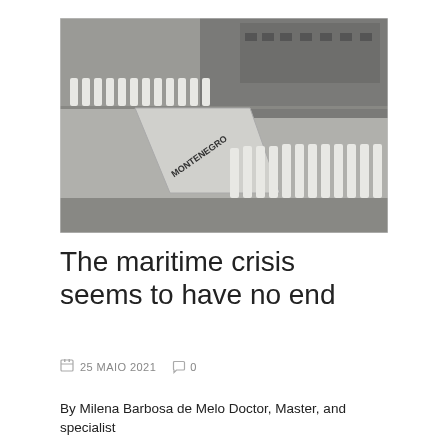[Figure (photo): Group of naval/military personnel in white uniforms standing in formation beside and on a ship gangway. A large gray naval vessel is visible in the background. The gangway reads 'Montenegro' on its side.]
The maritime crisis seems to have no end
25 MAIO 2021  0
By Milena Barbosa de Melo Doctor, Master, and specialist